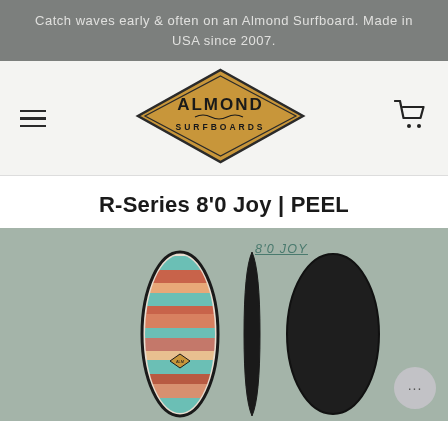Catch waves early & often on an Almond Surfboard. Made in USA since 2007.
[Figure (logo): Almond Surfboards diamond-shaped logo with golden/amber background and text ALMOND SURFBOARDS]
R-Series 8'0 Joy | PEEL
[Figure (illustration): Three views of the 8'0 Joy surfboard: top view showing striped teal and rust/terracotta pattern with small diamond logo, side profile view showing dark outline, and bottom/deck view showing dark solid board. Label '8'0 JOY' in teal italic underlined text at top.]